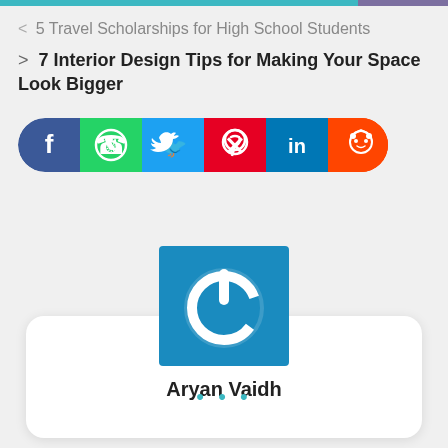< 5 Travel Scholarships for High School Students
> 7 Interior Design Tips for Making Your Space Look Bigger
[Figure (infographic): Social share bar with icons for Facebook, WhatsApp, Twitter, Pinterest, LinkedIn, and Reddit in their respective brand colors]
[Figure (illustration): Blue square icon with white power button symbol (author avatar for Aryan Vaidh)]
Aryan Vaidh
...